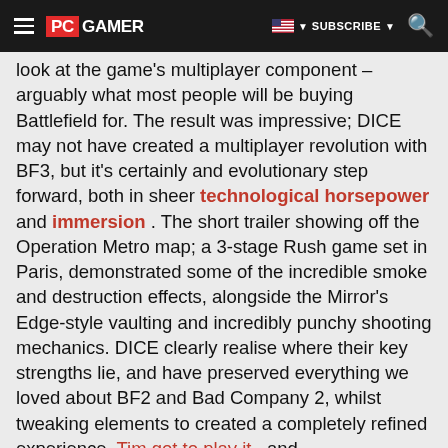PC GAMER | SUBSCRIBE
look at the game's multiplayer component – arguably what most people will be buying Battlefield for. The result was impressive; DICE may not have created a multiplayer revolution with BF3, but it's certainly and evolutionary step forward, both in sheer technological horsepower and immersion . The short trailer showing off the Operation Metro map; a 3-stage Rush game set in Paris, demonstrated some of the incredible smoke and destruction effects, alongside the Mirror's Edge-style vaulting and incredibly punchy shooting mechanics. DICE clearly realise where their key strengths lie, and have preserved everything we loved about BF2 and Bad Company 2, whilst tweaking elements to created a completely refined experience. Tim got to play it , and